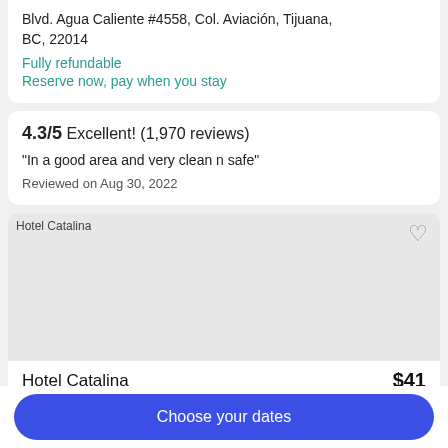Blvd. Agua Caliente #4558, Col. Aviación, Tijuana, BC, 22014
Fully refundable
Reserve now, pay when you stay
4.3/5 Excellent! (1,970 reviews)
"In a good area and very clean n safe"
Reviewed on Aug 30, 2022
[Figure (photo): Hotel Catalina property photo placeholder]
Hotel Catalina
$41
Choose your dates